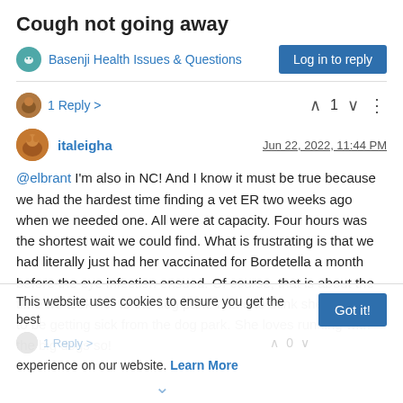Cough not going away
Basenji Health Issues & Questions
Log in to reply
1 Reply >
1
italeigha
Jun 22, 2022, 11:44 PM
@elbrant I'm also in NC! And I know it must be true because we had the hardest time finding a vet ER two weeks ago when we needed one. All were at capacity. Four hours was the shortest wait we could find. What is frustrating is that we had literally just had her vaccinated for Bordetella a month before the eye infection ensued. Of course, that is about the time we took her to the dog park. I hate to think she is going to be getting sick from the dog park. She loves running with the big dogs so!
This website uses cookies to ensure you get the best experience on our website. Learn More
Got it!